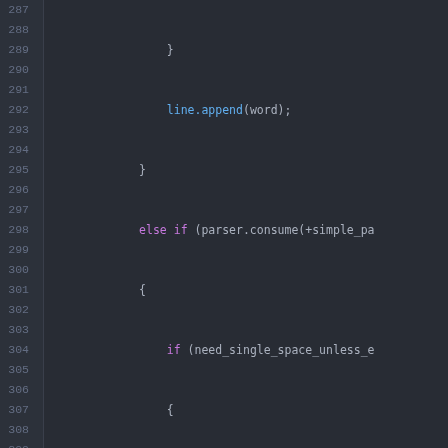[Figure (screenshot): Source code editor screenshot showing C++ code lines 287-314, dark theme (dark grey background), with syntax highlighting. Code shows a parser loop with line.append calls, else-if/else branches, throw statement, _imp->lines.push_back, and LineConfigFile class definitions.]